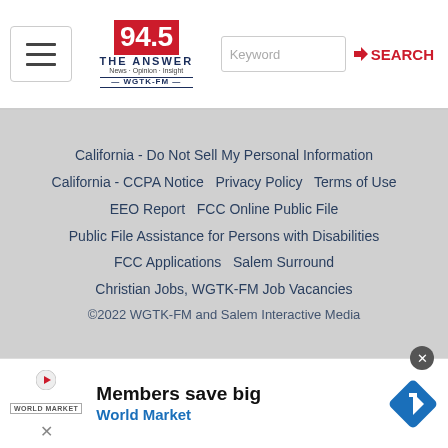[Figure (screenshot): Website header for 94.5 The Answer (WGTK-FM) with hamburger menu, logo, and search bar]
California - Do Not Sell My Personal Information
California - CCPA Notice   Privacy Policy   Terms of Use
EEO Report   FCC Online Public File
Public File Assistance for Persons with Disabilities
FCC Applications   Salem Surround
Christian Jobs, WGTK-FM Job Vacancies
©2022 WGTK-FM and Salem Interactive Media
[Figure (infographic): Advertisement banner: Members save big - World Market]